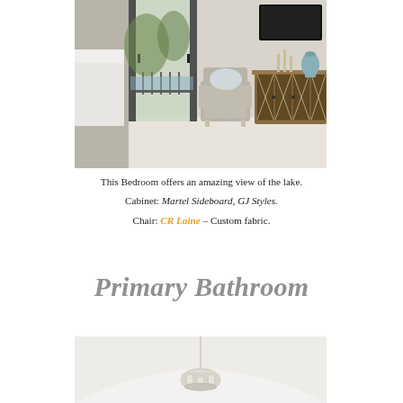[Figure (photo): Interior bedroom photo showing a patterned arm chair near french doors with lake view, and a large wood sideboard with mirrored panels against the right wall; candlesticks and blue ceramic vase on top.]
This Bedroom offers an amazing view of the lake.
Cabinet: Martel Sideboard, GJ Styles.
Chair: CR Laine – Custom fabric.
Primary Bathroom
[Figure (photo): Interior bathroom photo showing a white arched ceiling with a circular crystal chandelier hanging from it, bright white walls.]